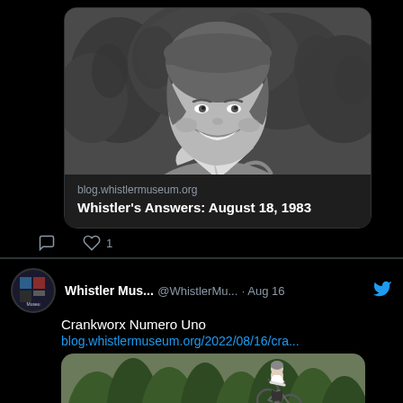[Figure (screenshot): Twitter/social media feed showing two tweets from Whistler Museum account. Top tweet has a link preview with a black and white photo of a smiling woman with a neckerchief, linking to blog.whistlermuseum.org article 'Whistler's Answers: August 18, 1983'. Below is a heart/like icon with count 1. Second tweet dated Aug 16 reads 'Crankworx Numero Uno' with link blog.whistlermuseum.org/2022/08/16/cra... and a photo of a mountain biker going off a wooden ramp with trees in background.]